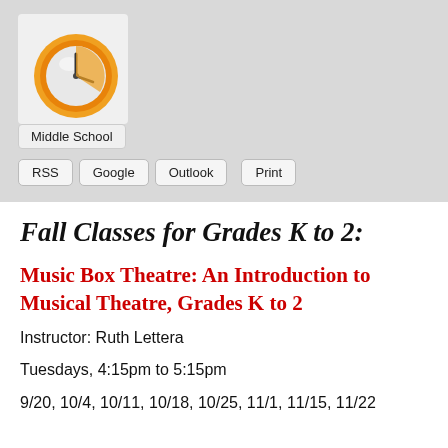[Figure (logo): Clock/calendar icon — orange rimmed clock face with gray and white interior]
Middle School
RSS  Google  Outlook  Print
Fall Classes for Grades K to 2:
Music Box Theatre: An Introduction to Musical Theatre, Grades K to 2
Instructor: Ruth Lettera
Tuesdays, 4:15pm to 5:15pm
9/20, 10/4, 10/11, 10/18, 10/25, 11/1, 11/15, 11/22